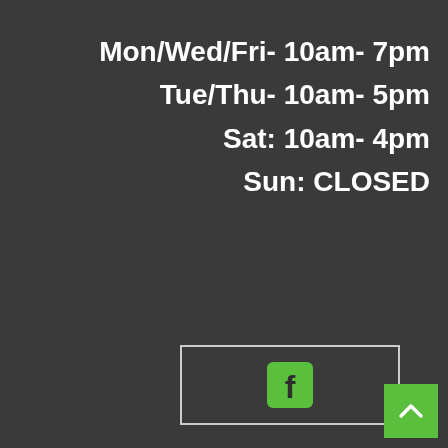Mon/Wed/Fri- 10am- 7pm
Tue/Thu- 10am- 5pm
Sat: 10am- 4pm
Sun: CLOSED
[Figure (logo): Facebook icon (green background with white 'f' letter) inside a rectangular white-bordered box]
[Figure (other): Green square button with white upward-pointing chevron arrow in bottom-right corner]